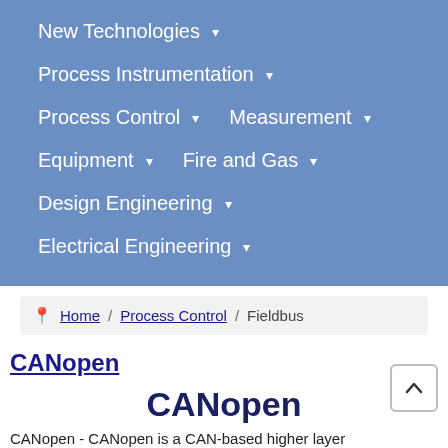New Technologies ▾
Process Instrumentation ▾
Process Control ▾     Measurement ▾
Equipment ▾     Fire and Gas ▾
Design Engineering ▾
Electrical Engineering ▾
Home / Process Control / Fieldbus
CANopen
CANopen
CANopen - CANopen is a CAN-based higher layer